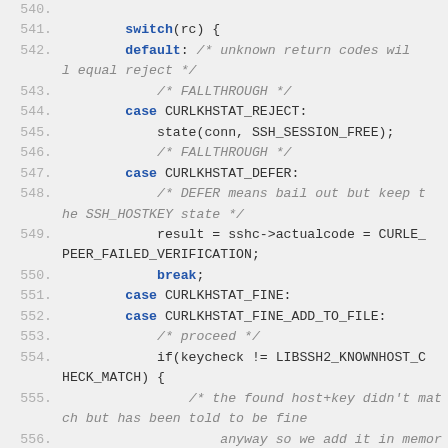[Figure (screenshot): Source code screenshot showing lines 541-557 (partial) of a C file. The code shows a switch statement handling SSH host key check return codes (CURLKHSTAT_REJECT, CURLKHSTAT_DEFER, CURLKHSTAT_FINE, CURLKHSTAT_FINE_ADD_TO_FILE) with comments explaining fallthrough behavior and a libssh2_knownhost_add call.]